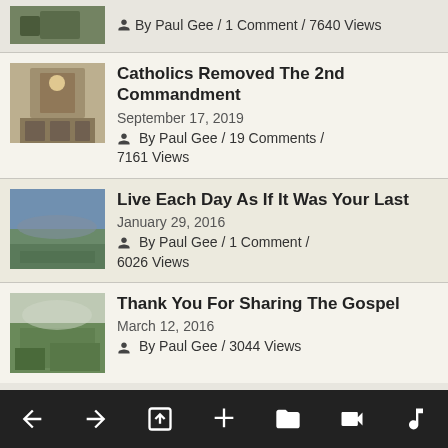By Paul Gee / 1 Comment / 7640 Views
Catholics Removed The 2nd Commandment
September 17, 2019
By Paul Gee / 19 Comments / 7161 Views
Live Each Day As If It Was Your Last
January 29, 2016
By Paul Gee / 1 Comment / 6026 Views
Thank You For Sharing The Gospel
March 12, 2016
By Paul Gee / 3044 Views
[Figure (screenshot): Mobile browser navigation toolbar with back, forward, share, cross, folder, video, and music icons on black background]